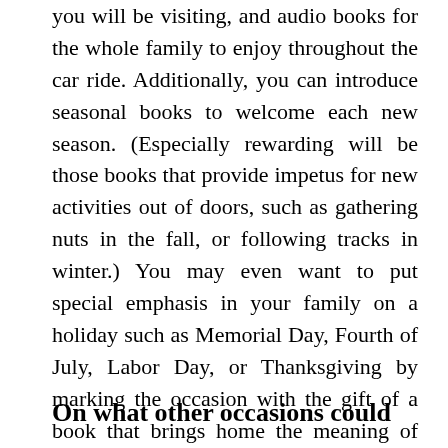you will be visiting, and audio books for the whole family to enjoy throughout the car ride. Additionally, you can introduce seasonal books to welcome each new season. (Especially rewarding will be those books that provide impetus for new activities out of doors, such as gathering nuts in the fall, or following tracks in winter.) You may even want to put special emphasis in your family on a holiday such as Memorial Day, Fourth of July, Labor Day, or Thanksgiving by marking the occasion with the gift of a book that brings home the meaning of the holiday.
On what other occasions could